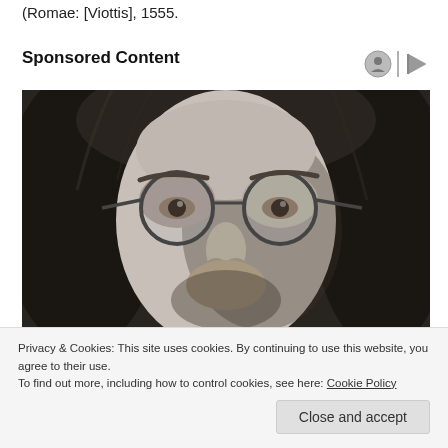(Romae: [Viottis], 1555.
Sponsored Content
[Figure (photo): Black and white close-up portrait photograph of a young man with long hair and round glasses, looking slightly downward]
Privacy & Cookies: This site uses cookies. By continuing to use this website, you agree to their use.
To find out more, including how to control cookies, see here: Cookie Policy